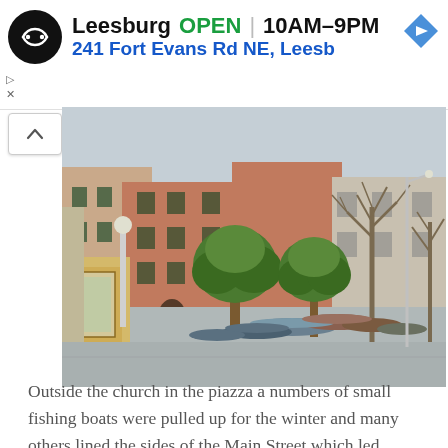[Figure (screenshot): Ad banner showing a store location: Leesburg OPEN 10AM-9PM, 241 Fort Evans Rd NE, Leesb, with a logo circle and navigation arrow icon]
[Figure (photo): Outdoor piazza scene in an Italian coastal town (likely Cinque Terre). Colorful pink and terracotta multi-story buildings in the background. Several trees including round-topped green trees and bare winter trees. Small fishing boats pulled up on the stone piazza floor. A noticeboard on the left. Paved stone square in the foreground. A bench visible at the bottom right.]
Outside the church in the piazza a numbers of small fishing boats were pulled up for the winter and many others lined the sides of the Main Street which led